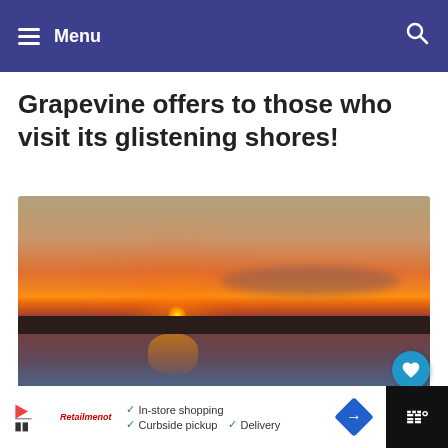≡  Menu
Grapevine offers to those who visit its glistening shores!
[Figure (photo): Sunset over a lake (Grapevine Lake), with the sun setting on the horizon casting an orange glow reflected in the water, with a dark land silhouette and purple-tinted clouds]
In-store shopping  Curbside pickup  Delivery